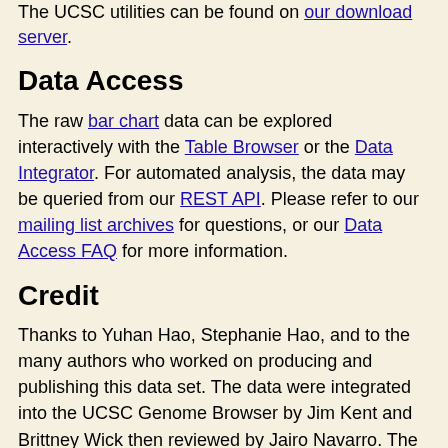The UCSC utilities can be found on our download server.
Data Access
The raw bar chart data can be explored interactively with the Table Browser or the Data Integrator. For automated analysis, the data may be queried from our REST API. Please refer to our mailing list archives for questions, or our Data Access FAQ for more information.
Credit
Thanks to Yuhan Hao, Stephanie Hao, and to the many authors who worked on producing and publishing this data set. The data were integrated into the UCSC Genome Browser by Jim Kent and Brittney Wick then reviewed by Jairo Navarro. The UCSC work was paid for by the Chan Zuckerberg Initiative.
References
Hao Y, Hao S, Andersen-Nissen E, Mauck WM 3rd, Zheng S,